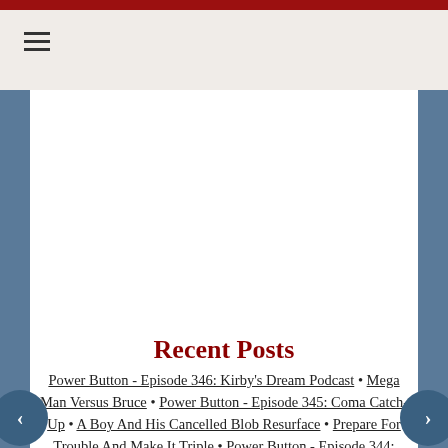≡ (hamburger menu icon)
Recent Posts
Power Button - Episode 346: Kirby's Dream Podcast • Mega Man Versus Bruce • Power Button - Episode 345: Coma Catch-Up • A Boy And His Cancelled Blob Resurface • Prepare For Trouble And Make It Triple • Power Button - Episode 344: Health Hiatus • Challenger A-purrroaching! • Power Button - Episode 343: The Best That 2021 Had To Offer • Power Button - Episode 342: 2021's Biggest News Revisited • Bobsun